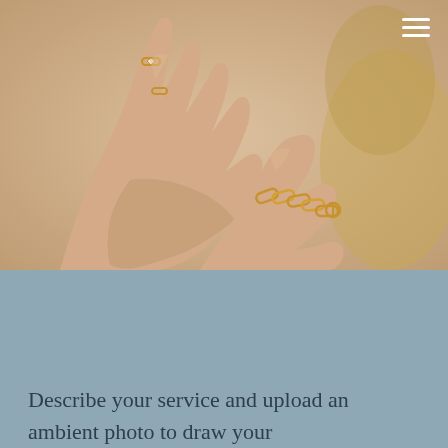[Figure (photo): Two feminine hands raised upward with gold jewelry — rings with gemstones on fingers and a gold chain-link bracelet on the wrist. The background is a warm beige/nude tone. In the far right background, a blurred figure with blonde hair is visible. A hamburger menu icon (three white horizontal lines) is in the top-right corner of the image.]
Describe your service and upload an ambient photo to draw your